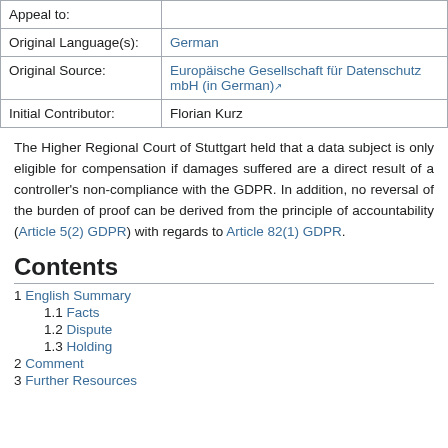| Appeal to: |  |
| Original Language(s): | German |
| Original Source: | Europäische Gesellschaft für Datenschutz mbH (in German) |
| Initial Contributor: | Florian Kurz |
The Higher Regional Court of Stuttgart held that a data subject is only eligible for compensation if damages suffered are a direct result of a controller's non-compliance with the GDPR. In addition, no reversal of the burden of proof can be derived from the principle of accountability (Article 5(2) GDPR) with regards to Article 82(1) GDPR.
Contents
1 English Summary
1.1 Facts
1.2 Dispute
1.3 Holding
2 Comment
3 Further Resources